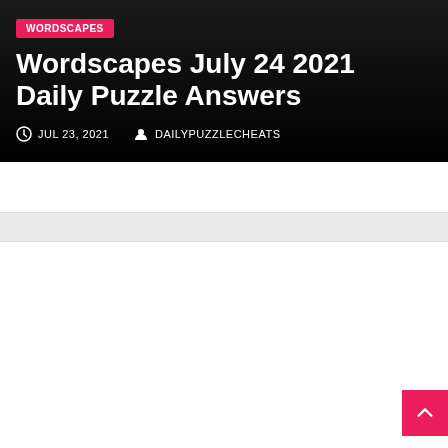WORDSCAPES
Wordscapes July 24 2021 Daily Puzzle Answers
JUL 23, 2021   DAILYPUZZLECHEATS